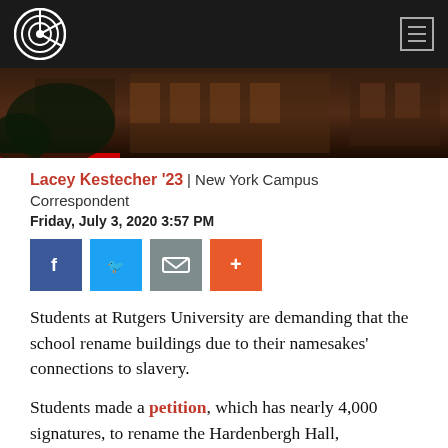Navigation bar with logo and hamburger menu
[Figure (photo): Exterior photo of a brick building at night, partially obscured by trees, with a red bar at the bottom left]
Lacey Kestecher '23 | New York Campus Correspondent
Friday, July 3, 2020 3:57 PM
[Figure (infographic): Social sharing buttons: Facebook (blue), Twitter (light blue), Email (gray), Plus/More (orange)]
Students at Rutgers University are demanding that the school rename buildings due to their namesakes' connections to slavery.
Students made a petition, which has nearly 4,000 signatures, to rename the Hardenbergh Hall, Frelinghuysen Hall, and MIlledoler Hall for